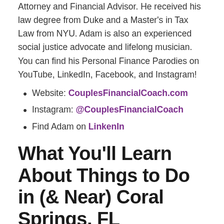Attorney and Financial Advisor. He received his law degree from Duke and a Master's in Tax Law from NYU. Adam is also an experienced social justice advocate and lifelong musician. You can find his Personal Finance Parodies on YouTube, LinkedIn, Facebook, and Instagram!
Website: CouplesFinancialCoach.com
Instagram: @CouplesFinancialCoach
Find Adam on LinkenIn
What You'll Learn About Things to Do in (& Near) Coral Springs, FL
Discover things to do in Coral Springs today
One of the top 10 bucket list items in Coral